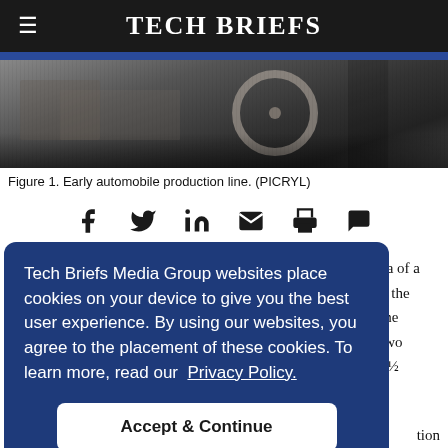Tech Briefs
[Figure (photo): Early automobile production line, black and white historical photograph]
Figure 1. Early automobile production line. (PICRYL)
Tech Briefs Media Group websites place cookies on your device to give you the best user experience. By using our websites, you agree to the placement of these cookies. To learn more, read our Privacy Policy.
Accept & Continue
ea of a d the the two 1½ tion line was adopted by numerous industries, from radios to razors,